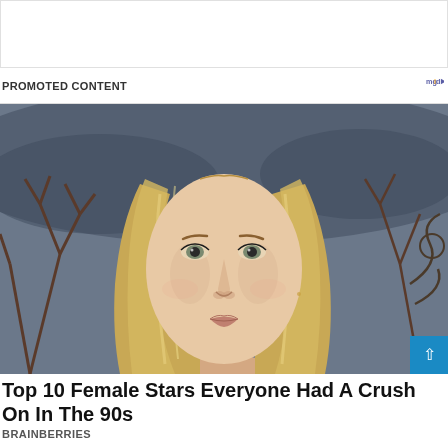[Figure (other): White advertisement placeholder banner at top]
PROMOTED CONTENT
[Figure (photo): Close-up portrait photo of a blonde woman with straight hair and grey-green eyes, wearing subtle makeup, with bare winter trees and dark cloudy sky in background]
Top 10 Female Stars Everyone Had A Crush On In The 90s
BRAINBERRIES